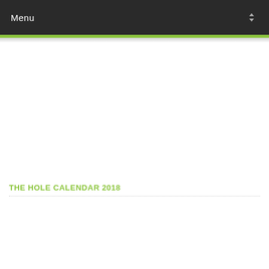Menu
THE HOLE CALENDAR 2018
[Figure (illustration): The Hole Calendar 2018 promotional thumbnail image with teal background, mountains, sun, and stylized 'The HOLE calendar' text logo]